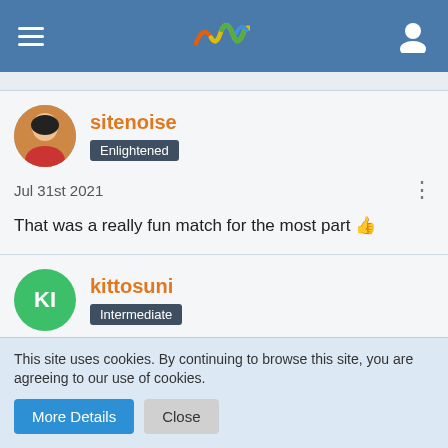Site header with hamburger menu, logo, and user icon
sitenoise
Enlightened
Jul 31st 2021
That was a really fun match for the most part 👍
kittosuni
Intermediate
This site uses cookies. By continuing to browse this site, you are agreeing to our use of cookies.